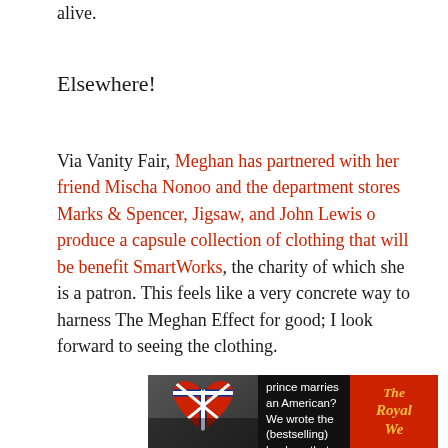alive.
Elsewhere!
Via Vanity Fair, Meghan has partnered with her friend Mischa Nonoo and the department stores Marks & Spencer, Jigsaw, and John Lewis o produce a capsule collection of clothing that will be benefit SmartWorks, the charity of which she is a patron. This feels like a very concrete way to harness The Meghan Effect for good; I look forward to seeing the clothing.
[Figure (other): Advertisement banner: photo of a couple, black background with text 'What if a prince marries an American? We wrote the (bestselling) book on that.' and red panel with 'The Royal We' in gold italic text]